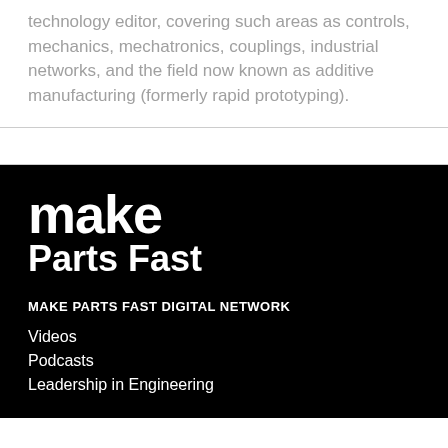technology editor, covering such areas as controls, mechanics, mechatronics, couplings, industrial networks, and the field now known as additive manufacturing (formerly rapid prototyping).
[Figure (logo): Make Parts Fast logo in white text on black background. 'make' in large bold lowercase and 'Parts Fast' below in bold title case.]
MAKE PARTS FAST DIGITAL NETWORK
Videos
Podcasts
Leadership in Engineering